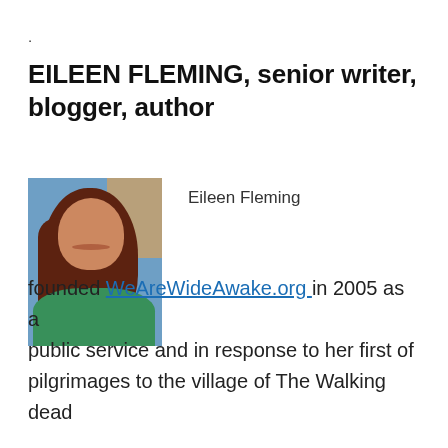.
EILEEN FLEMING, senior writer, blogger, author
[Figure (photo): Portrait photo of Eileen Fleming, a woman with long red hair, smiling, wearing a green top, with blue fabric in background]
Eileen Fleming
founded WeAreWideAwake.org in 2005 as a public service and in response to her first of pilgrimages to the village of The Walking dead...